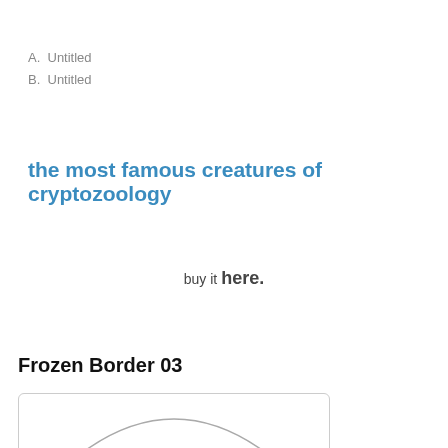A.  Untitled
B.  Untitled
the most famous creatures of cryptozoology
buy it here.
Frozen Border 03
[Figure (illustration): Partial circular arc or rounded shape visible at bottom of a white rounded-rectangle image box]